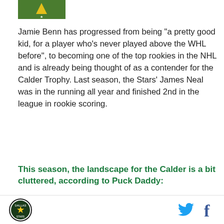[Figure (logo): Small logo/image in top left corner, appears to be a sports-related graphic]
Jamie Benn has progressed from being "a pretty good kid, for a player who's never played above the WHL before", to becoming one of the top rookies in the NHL and is already being thought of as a contender for the Calder Trophy. Last season, the Stars' James Neal was in the running all year and finished 2nd in the league in rookie scoring.
This season, the landscape for the Calder is a bit cluttered, according to Puck Daddy:
But it's the players between Tavares and Hedman on this chart that have made the race immediately